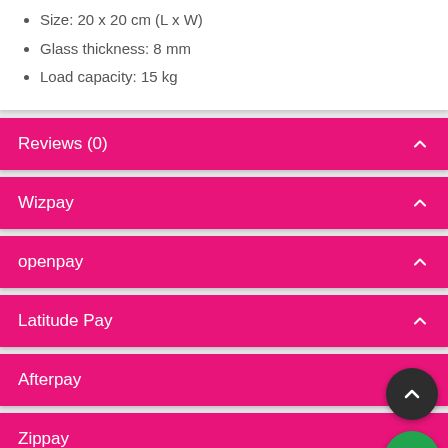Size: 20 x 20 cm (L x W)
Glass thickness: 8 mm
Load capacity: 15 kg
Reviews (0)
Wizpay
openpay
Latitude Pay
Afterpay
Zippay
humm